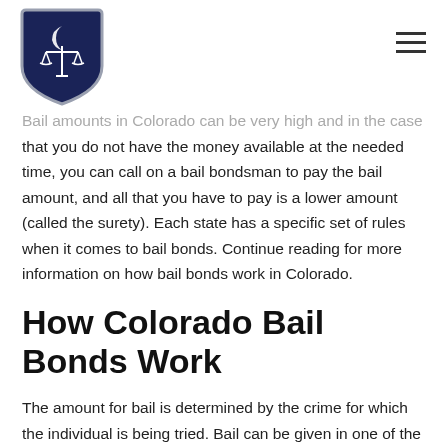[Logo: Law firm shield with scales of justice icon, hamburger menu icon]
Bail amounts in Colorado can be very high and in the case that you do not have the money available at the needed time, you can call on a bail bondsman to pay the bail amount, and all that you have to pay is a lower amount (called the surety). Each state has a specific set of rules when it comes to bail bonds. Continue reading for more information on how bail bonds work in Colorado.
How Colorado Bail Bonds Work
The amount for bail is determined by the crime for which the individual is being tried. Bail can be given in one of the following five categories: